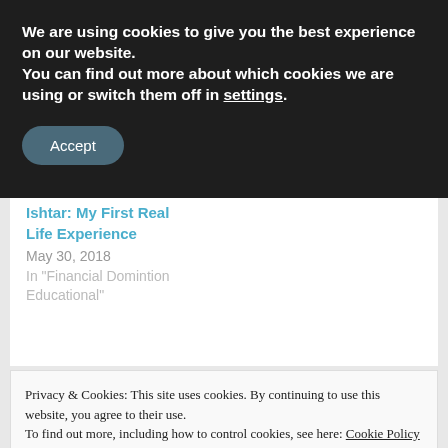We are using cookies to give you the best experience on our website.
You can find out more about which cookies we are using or switch them off in settings.
Accept
Ishtar: My First Real Life Experience
May 30, 2018
In "Financial Domintion Educational"
Privacy & Cookies: This site uses cookies. By continuing to use this website, you agree to their use.
To find out more, including how to control cookies, see here: Cookie Policy
Close and accept
Duck